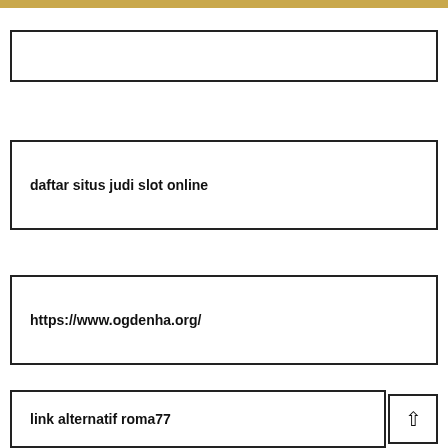daftar situs judi slot online
https://www.ogdenha.org/
link alternatif roma77